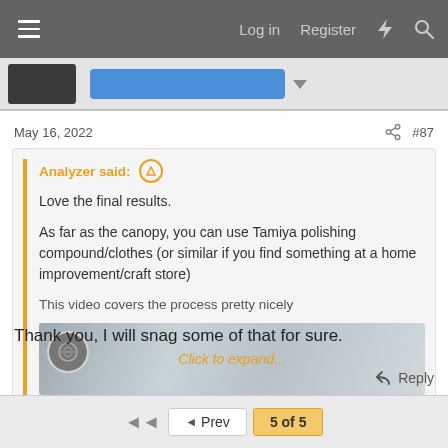Log in   Register
May 16, 2022   #87
Analyzer said:
Love the final results.

As far as the canopy, you can use Tamiya polishing compound/clothes (or similar if you find something at a home improvement/craft store)

This video covers the process pretty nicely

Click to expand...
Thank you, I will snag some of that for sure.
Reply
◄◄   ◄ Prev   5 of 5